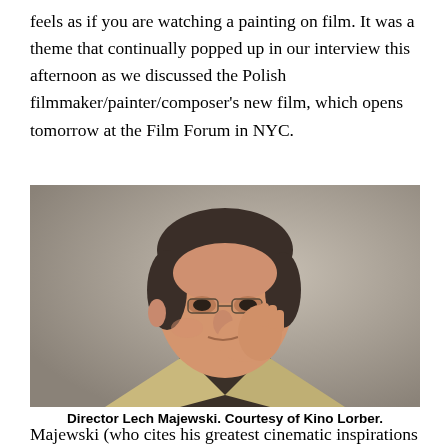feels as if you are watching a painting on film. It was a theme that continually popped up in our interview this afternoon as we discussed the Polish filmmaker/painter/composer's new film, which opens tomorrow at the Film Forum in NYC.
[Figure (photo): Portrait photo of director Lech Majewski, a middle-aged man with dark hair and glasses, resting his chin on his hand, wearing a beige jacket, against a grey background.]
Director Lech Majewski. Courtesy of Kino Lorber.
Majewski (who cites his greatest cinematic inspirations